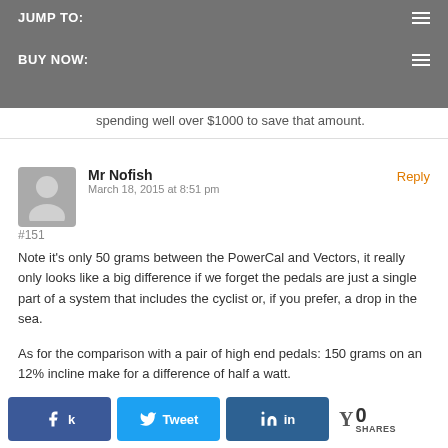JUMP TO:   BUY NOW:
spending well over $1000 to save that amount.
Mr Nofish
March 18, 2015 at 8:51 pm
#151
Note it's only 50 grams between the PowerCal and Vectors, it really only looks like a big difference if we forget the pedals are just a single part of a system that includes the cyclist or, if you prefer, a drop in the sea.

As for the comparison with a pair of high end pedals: 150 grams on an 12% incline make for a difference of half a watt.